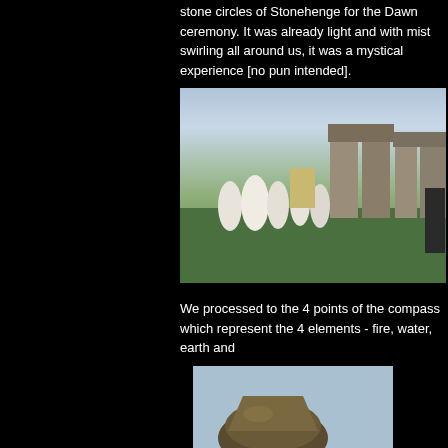stone circles of Stonehenge for the Dawn ceremony. It was already light and with mist swirling all around us, it was a mystical experience [no pun intended].
[Figure (photo): People in white robes gathered inside the stone circles of Stonehenge during a dawn ceremony, with mist and pale sky in the background. A person in a dark jacket is visible on the right edge.]
We processed to the 4 points of the compass which represent the 4 elements - fire, water, earth and
[Figure (photo): Close-up photograph of a dark stone or rock object against a light blue and white sky background.]